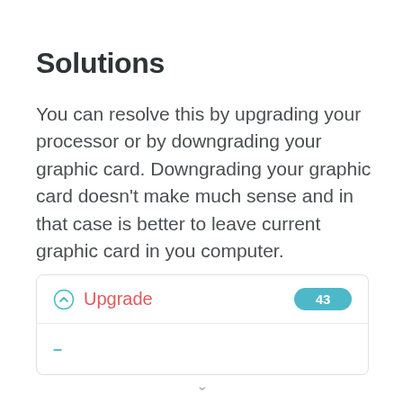Solutions
You can resolve this by upgrading your processor or by downgrading your graphic card. Downgrading your graphic card doesn't make much sense and in that case is better to leave current graphic card in you computer.
Upgrade  43